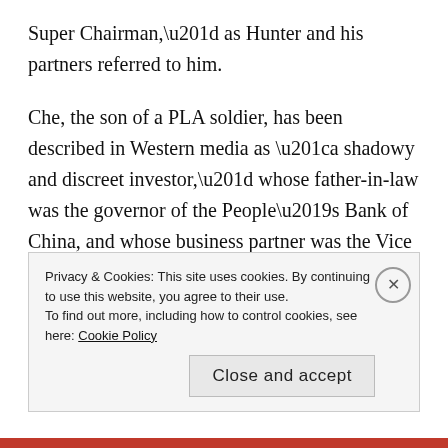Super Chairman,” as Hunter and his partners referred to him.
Che, the son of a PLA soldier, has been described in Western media as “a shadowy and discreet investor,” whose father-in-law was the governor of the People’s Bank of China, and whose business partner was the Vice Minister of State Security, a man by the name of Ma Jian. Schweizer writes that Ma was reportedly the director of the ministry’s No. 8 Bureau, overseeing North A...
Privacy & Cookies: This site uses cookies. By continuing to use this website, you agree to their use. To find out more, including how to control cookies, see here: Cookie Policy
Close and accept